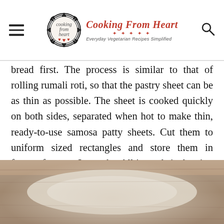Cooking From Heart — Everyday Vegetarian Recipes Simplified
bread first. The process is similar to that of rolling rumali roti, so that the pastry sheet can be as thin as possible. The sheet is cooked quickly on both sides, separated when hot to make thin, ready-to-use samosa patty sheets. Cut them to uniform sized rectangles and store them in freezer for upto 2 months. All it needs is thawing and bringing to room temperature before the samosa can be fried.
[Figure (photo): Close-up photo of samosa pastry sheets on a wooden surface, slightly blurred.]